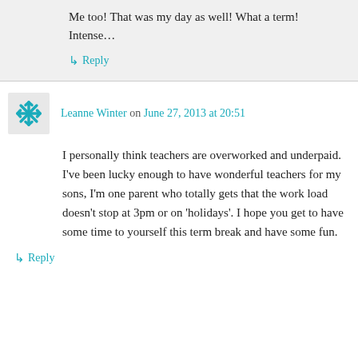Me too! That was my day as well! What a term! Intense…
↳ Reply
Leanne Winter on June 27, 2013 at 20:51
I personally think teachers are overworked and underpaid. I've been lucky enough to have wonderful teachers for my sons, I'm one parent who totally gets that the work load doesn't stop at 3pm or on 'holidays'. I hope you get to have some time to yourself this term break and have some fun.
↳ Reply